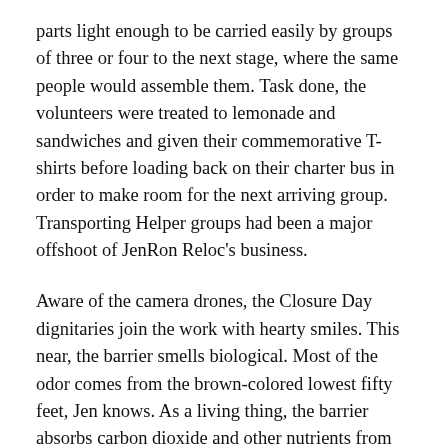parts light enough to be carried easily by groups of three or four to the next stage, where the same people would assemble them. Task done, the volunteers were treated to lemonade and sandwiches and given their commemorative T-shirts before loading back on their charter bus in order to make room for the next arriving group. Transporting Helper groups had been a major offshoot of JenRon Reloc's business.
Aware of the camera drones, the Closure Day dignitaries join the work with hearty smiles. This near, the barrier smells biological. Most of the odor comes from the brown-colored lowest fifty feet, Jen knows. As a living thing, the barrier absorbs carbon dioxide and other nutrients from the air. Waste percolates downward, and is the cause of the brown stripe. To the surprise of the designers, the waste is highly toxic. It consists of a distilled amalgam of the world's airborne pollution